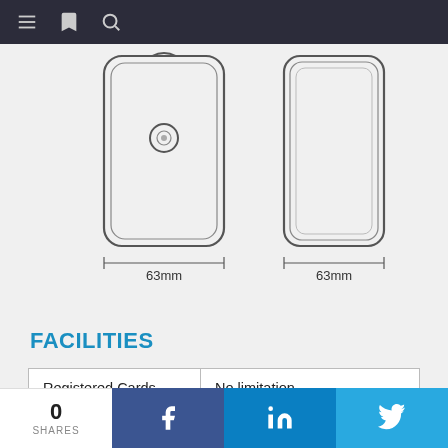Navigation bar with menu, bookmark, and search icons
[Figure (engineering-diagram): Front and side view engineering schematic of a card reader device showing dimensions of 63mm width for both front and side views]
FACILITIES
| Registered Cards Number | No limitation |
| Reading Time | ≤1s |
| Reading Range | ≤3cm |
| Opening Records | 1000 |
| M1 Sensor Frequency | 13. 56MHZ |
| Static Current | ≤15uA |
0 SHARES  [Facebook] [LinkedIn] [Twitter]